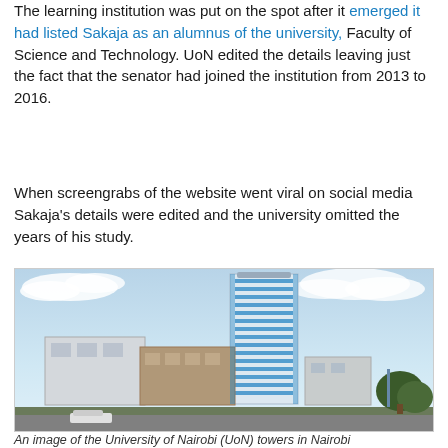The learning institution was put on the spot after it emerged it had listed Sakaja as an alumnus of the university, Faculty of Science and Technology. UoN edited the details leaving just the fact that the senator had joined the institution from 2013 to 2016.
When screengrabs of the website went viral on social media Sakaja's details were edited and the university omitted the years of his study.
[Figure (photo): An image of the University of Nairobi (UoN) towers in Nairobi — a tall multi-storey building with blue and white facade, with lower buildings in the foreground, cars on the road, and trees to the right.]
An image of the University of Nairobi (UoN) towers in Nairobi